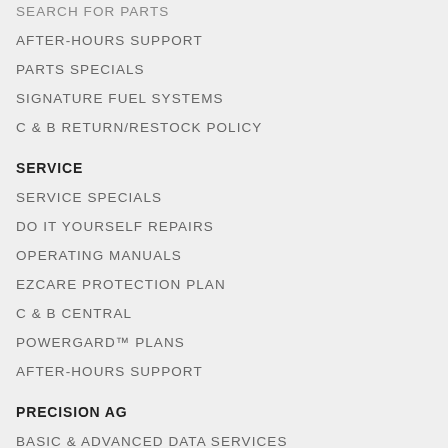SEARCH FOR PARTS
AFTER-HOURS SUPPORT
PARTS SPECIALS
SIGNATURE FUEL SYSTEMS
C & B RETURN/RESTOCK POLICY
SERVICE
SERVICE SPECIALS
DO IT YOURSELF REPAIRS
OPERATING MANUALS
EZCARE PROTECTION PLAN
C & B CENTRAL
POWERGARD™ PLANS
AFTER-HOURS SUPPORT
PRECISION AG
BASIC & ADVANCED DATA SERVICES